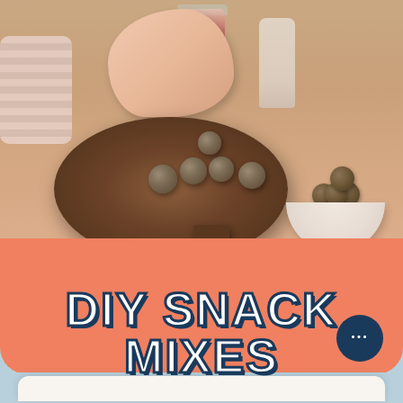[Figure (photo): Photo of hands placing chocolate energy/protein balls coated in coconut or seeds on a round wooden cutting board, with more balls in a white ceramic bowl in the background, on a warm terracotta-colored surface. A red jar and white bottle visible in background.]
DIY SNACK MIXES